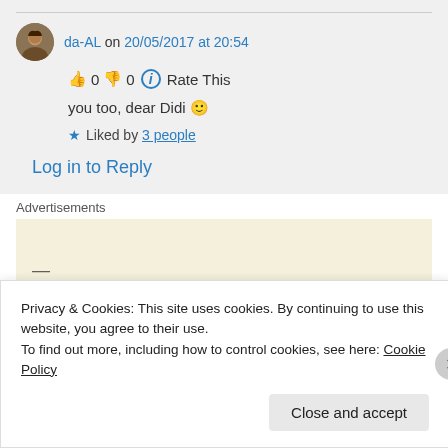da-AL on 20/05/2017 at 20:54
👍 0 👎 0 ℹ Rate This
you too, dear Didi 🙂
★ Liked by 3 people
Log in to Reply
Advertisements
Privacy & Cookies: This site uses cookies. By continuing to use this website, you agree to their use.
To find out more, including how to control cookies, see here: Cookie Policy
Close and accept